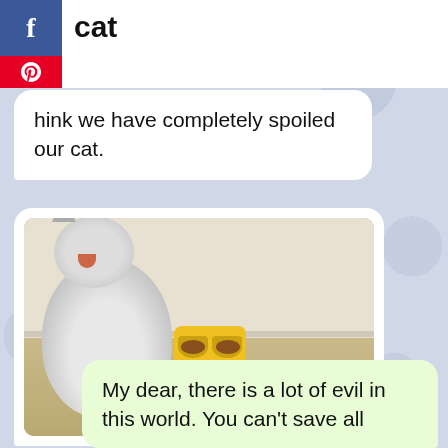f  cat
hink we have completely spoiled our cat.
[Figure (photo): A fluffy cat with mouth open sitting next to multiple food bowls (yellow double bowl, metal rack with two bowls, and a water bowl on the floor)]
My dear, there is a lot of evil in this world. You can't save all